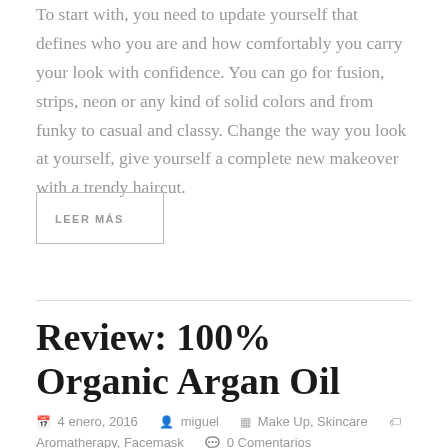To start with, you need to update yourself that defines who you are and how comfortably you carry your look with confidence. You can go for fusion, strips, neon or any kind of solid colors and from funky to casual and classy. Change the way you look at yourself, give yourself a complete new makeover with a trendy haircut.
LEER MÁS
Review: 100% Organic Argan Oil
4 enero, 2016  miguel  Make Up, Skincare  Aromatherapy, Facemask  0 Comentarios